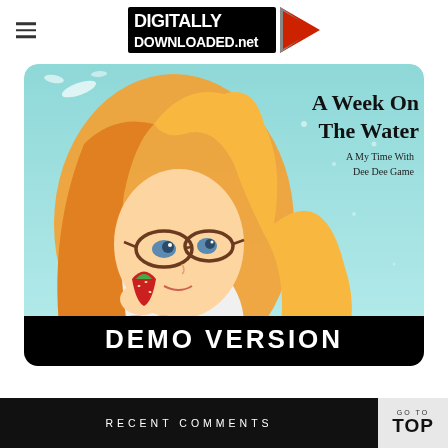DIGITALLY DOWNLOADED.net
[Figure (illustration): Anime-style illustration of a girl with orange hair and glasses eating a strawberry, with water splashes, on a teal background. Text overlay reads 'A Week On The Water – A My Time With Dee Dee Game'. A black banner at the bottom reads 'DEMO VERSION'.]
RECENT COMMENTS | GO TO TOP